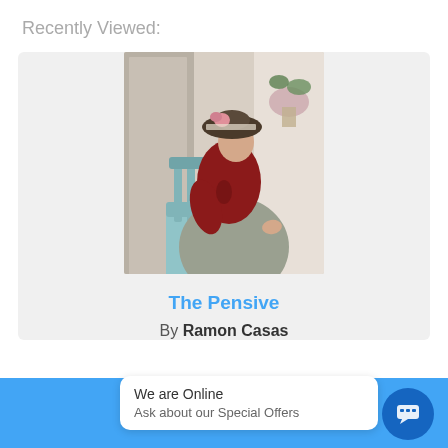Recently Viewed:
[Figure (illustration): A painting titled 'The Pensive' by Ramon Casas showing a woman in a red blouse and grey-green skirt seated sideways on a light blue chair, wearing a decorated hat, viewed from behind/side, with a light background]
The Pensive
By Ramon Casas
We are Online
Ask about our Special Offers